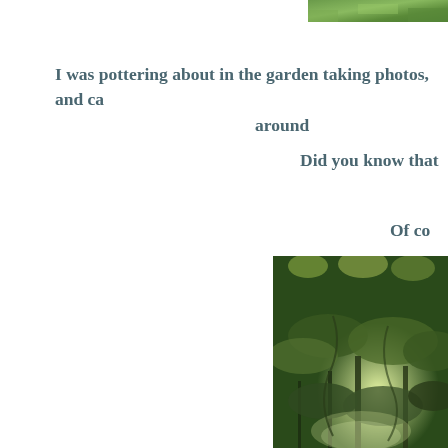[Figure (photo): Partial view of green garden/plant photo at top right corner, cropped]
I was pottering about in the garden taking photos, and ca around
Did you know that
Of co
[Figure (photo): Photo of dense green garden trees and foliage, positioned at bottom right]